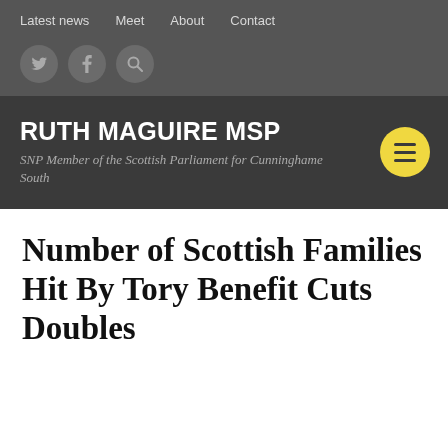Latest news  Meet  About  Contact
[Figure (other): Social media icons: Twitter, Facebook, Search]
RUTH MAGUIRE MSP
SNP Member of the Scottish Parliament for Cunninghame South
Number of Scottish Families Hit By Tory Benefit Cuts Doubles